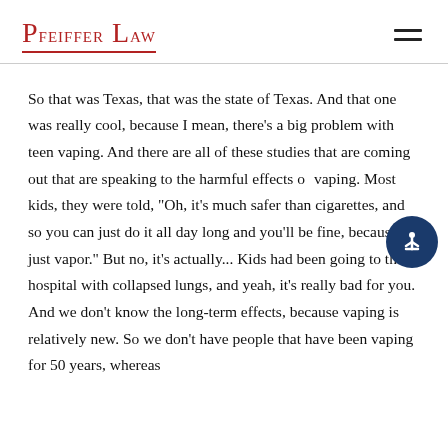Pfeiffer Law
So that was Texas, that was the state of Texas. And that one was really cool, because I mean, there's a big problem with teen vaping. And there are all of these studies that are coming out that are speaking to the harmful effects of vaping. Most kids, they were told, "Oh, it's much safer than cigarettes, and so you can just do it all day long and you'll be fine, because it's just vapor." But no, it's actually... Kids had been going to the hospital with collapsed lungs, and yeah, it's really bad for you. And we don't know the long-term effects, because vaping is relatively new. So we don't have people that have been vaping for 50 years, whereas